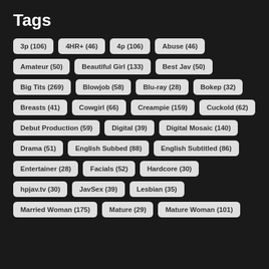Tags
3p (106)
4HR+ (46)
4p (106)
Abuse (46)
Amateur (50)
Beautiful Girl (133)
Best Jav (50)
Big Tits (269)
Blowjob (58)
Blu-ray (28)
Bokep (32)
Breasts (41)
Cowgirl (66)
Creampie (159)
Cuckold (62)
Debut Production (59)
Digital (39)
Digital Mosaic (140)
Drama (51)
English Subbed (88)
English Subtitled (86)
Entertainer (28)
Facials (52)
Hardcore (30)
hpjav.tv (30)
JavSex (39)
Lesbian (35)
Married Woman (175)
Mature (29)
Mature Woman (101)